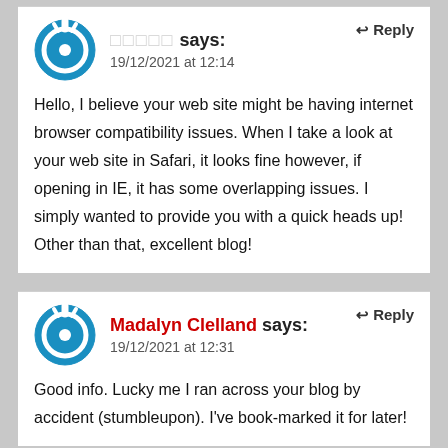□□□□□ says:
19/12/2021 at 12:14
Hello, I believe your web site might be having internet browser compatibility issues. When I take a look at your web site in Safari, it looks fine however, if opening in IE, it has some overlapping issues. I simply wanted to provide you with a quick heads up! Other than that, excellent blog!
Madalyn Clelland says:
19/12/2021 at 12:31
Good info. Lucky me I ran across your blog by accident (stumbleupon). I've book-marked it for later!